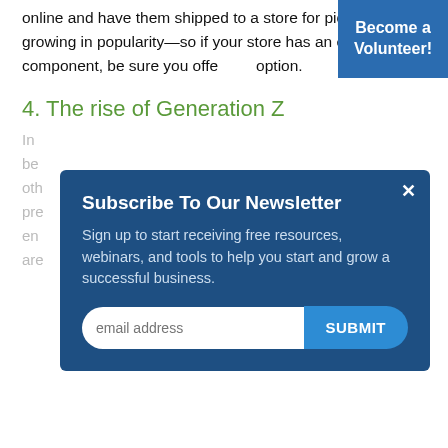online and have them shipped to a store for pickup, are growing in popularity—so if your store has an eCommerce component, be sure you offer this option.
[Figure (other): Blue 'Become a Volunteer!' button in top-right corner]
4. The rise of Generation Z
In ... be ... oth ... pre ... y, en ... are ... stores. As this generation's spending power grows, they'll become even more important to retailers.
[Figure (other): Newsletter subscription modal with title 'Subscribe To Our Newsletter', body text 'Sign up to start receiving free resources, webinars, and tools to help you start and grow a successful business.', email input field, and SUBMIT button. Close (×) button in top right corner.]
5. The retail experience